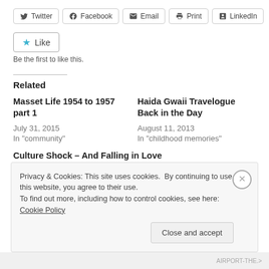Twitter | Facebook | Email | Print | LinkedIn
Like
Be the first to like this.
Related
Masset Life 1954 to 1957 part 1
July 31, 2015
In "community"
Haida Gwaii Travelogue Back in the Day
August 11, 2013
In "childhood memories"
Culture Shock – And Falling in Love
Privacy & Cookies: This site uses cookies. By continuing to use this website, you agree to their use.
To find out more, including how to control cookies, see here: Cookie Policy
Close and accept